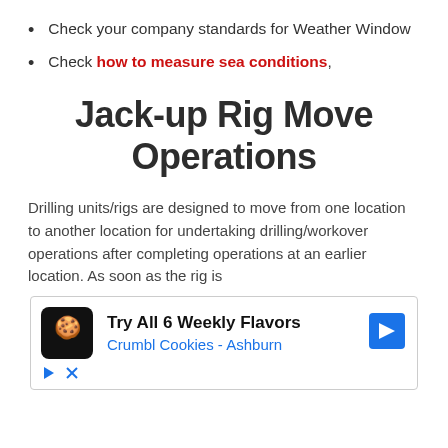Check your company standards for Weather Window
Check how to measure sea conditions,
Jack-up Rig Move Operations
Drilling units/rigs are designed to move from one location to another location for undertaking drilling/workover operations after completing operations at an earlier location. As soon as the rig is
[Figure (other): Advertisement banner for Crumbl Cookies - Ashburn: Try All 6 Weekly Flavors]